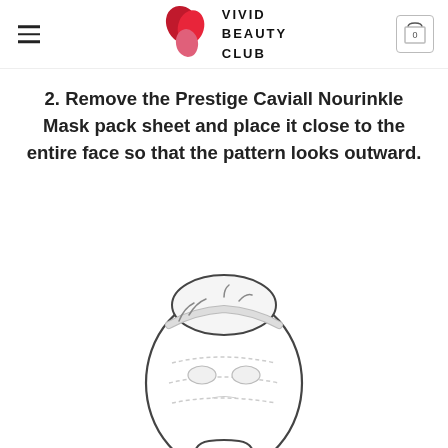VIVID BEAUTY CLUB
2.  Remove the Prestige Caviall Nourinkle Mask pack sheet and place it close to the entire face so that the pattern looks outward.
[Figure (illustration): Line drawing illustration of a person's head from above/front showing hair pulled back with a headband, applying a face mask]